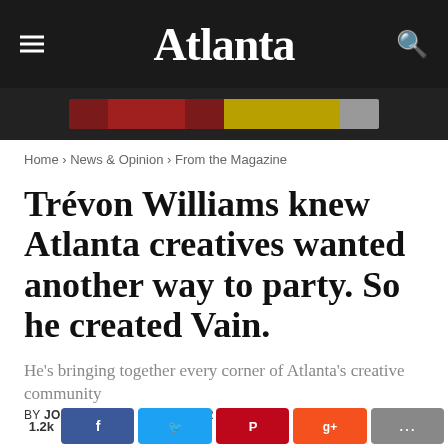Atlanta
[Figure (other): Ad banner strip with dark background and colored segments]
Home › News & Opinion › From the Magazine
Trévon Williams knew Atlanta creatives wanted another way to party. So he created Vain.
He's bringing together every corner of Atlanta's creative community
BY JOSH GREEN - SEPTEMBER 19, 2019
[Figure (other): Social share bar with share count 1.2k and Facebook, Twitter, Pinterest, Google+, and more buttons]